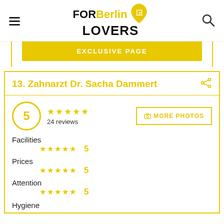FOR Berlin LOVERS
EXCLUSIVE PAGE
13. Zahnarzt Dr. Sacha Dammert
5 ★★★★★ 24 reviews MORE PHOTOS
Facilities ★★★★★ 5
Prices ★★★★★ 5
Attention ★★★★★ 5
Hygiene